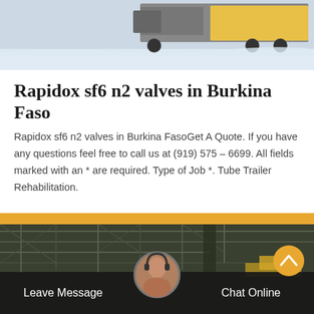[Figure (photo): Top photo showing snowy scene with a truck/heavy vehicle in winter conditions]
Rapidox sf6 n2 valves in Burkina Faso
Rapidox sf6 n2 valves in Burkina FasoGet A Quote. If you have any questions feel free to call us at (919) 575 – 6699. All fields marked with an * are required. Type of Job *. Tube Trailer Rehabilitation.
[Figure (other): Get Price button — amber/orange colored call-to-action button]
[Figure (photo): Bottom photo showing an industrial structure with metal scaffolding/framework in winter. Overlay footer bar with Leave Message and Chat Online links and a customer service avatar.]